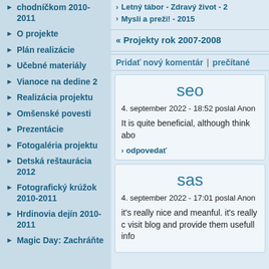chodníčkom 2010-2011
O projekte
Plán realizácie
Učebné materiály
Vianoce na dedine 2
Realizácia projektu
Omšenské povesti
Prezentácie
Fotogaléria projektu
Detská reštaurácia 2012
Fotografický krúžok 2010-2011
Hrdinovia dejín 2010-2011
Magic Day: Zachráňte
Letný tábor - Zdravý život - 2
Mysli a preži! - 2015
« Projekty rok 2007-2008
Pridať nový komentár | prečítané
seo
4. september 2022 - 18:52 poslal Anon
It is quite beneficial, although think abo
odpovedať
sas
4. september 2022 - 17:01 poslal Anon
it's really nice and meanful. it's really c visit blog and provide them usefull info